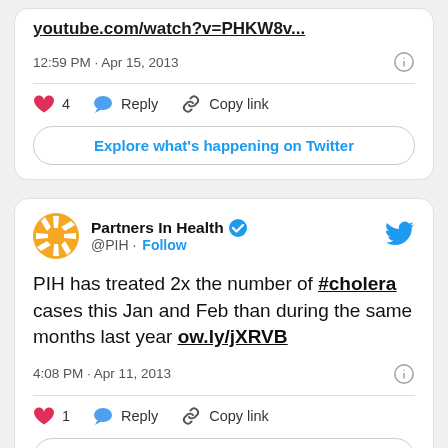[Figure (screenshot): Top portion of a Twitter/X tweet card showing a YouTube link 'youtube.com/watch?v=PHKW8v...' with timestamp '12:59 PM · Apr 15, 2013', like count of 4, Reply, Copy link actions, and 'Explore what's happening on Twitter' button]
[Figure (screenshot): Twitter/X tweet card from Partners In Health (@PIH) with blue verified badge, posted at 4:08 PM · Apr 11, 2013. Tweet text: 'PIH has treated 2x the number of #cholera cases this Jan and Feb than during the same months last year ow.ly/jXRVB'. Like count of 1, Reply, Copy link actions, and 'Explore what's happening on Twitter' button.]